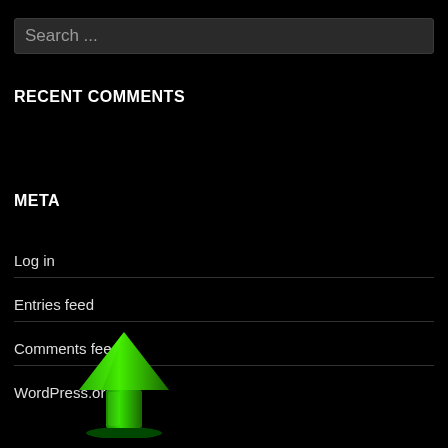Search ...
RECENT COMMENTS
META
Log in
Entries feed
Comments feed
WordPress.org
[Figure (illustration): Green upward-pointing arrow icon with a glowing effect at the base]